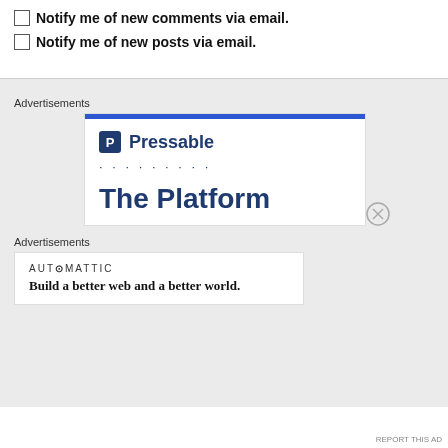Notify me of new comments via email.
Notify me of new posts via email.
Advertisements
[Figure (other): Pressable advertisement banner with logo, dots, and tagline 'The Platform']
Advertisements
[Figure (other): Automattic advertisement with text 'Build a better web and a better world.']
REPORT THIS AD